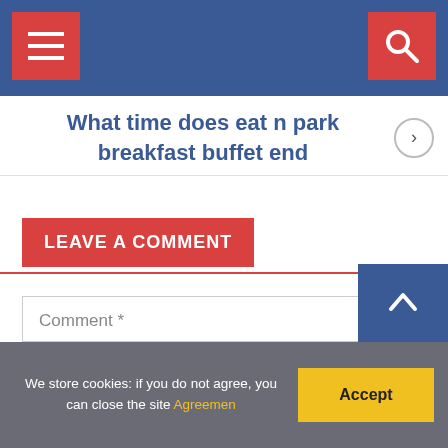Navigation header with hamburger menu and search button
What time does eat n park breakfast buffet end
LEAVE A COMMENT
Comment *
We store cookies: if you do not agree, you can close the site Agreemen